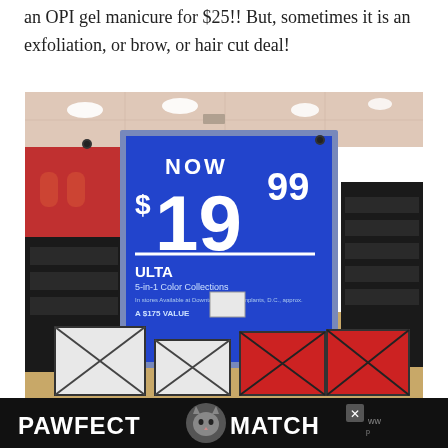an OPI gel manicure for $25!! But, sometimes it is an exfoliation, or brow, or hair cut deal!
[Figure (photo): Interior of an Ulta Beauty store showing a large blue promotional sign reading 'NOW $19.99 ULTA 5-in-1 Color Collections A $175 Value', with product shelves visible on either side and display cubes on the floor.]
[Figure (infographic): Advertisement banner at bottom reading 'PAWFECT MATCH' with a cat logo icon and a media player logo on the right.]